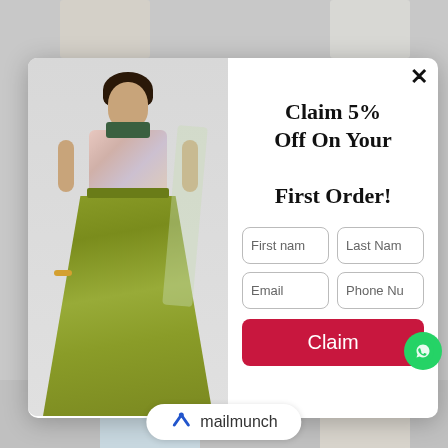[Figure (screenshot): E-commerce popup modal on a clothing website showing a discount offer. Left side has an image of a woman wearing a floral blouse and olive green lehenga skirt. Right side has a headline, form fields, and claim button. Background shows clothing items. MailMunch branding at the bottom.]
Claim 5% Off On Your First Order!
First nam
Last Nam
Email
Phone Nu
Claim
mailmunch